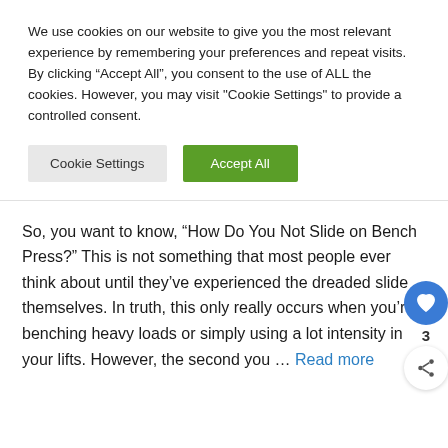We use cookies on our website to give you the most relevant experience by remembering your preferences and repeat visits. By clicking “Accept All”, you consent to the use of ALL the cookies. However, you may visit "Cookie Settings" to provide a controlled consent.
Cookie Settings | Accept All
So, you want to know, “How Do You Not Slide on Bench Press?” This is not something that most people ever think about until they’ve experienced the dreaded slide themselves. In truth, this only really occurs when you’re benching heavy loads or simply using a lot intensity in your lifts. However, the second you ... Read more